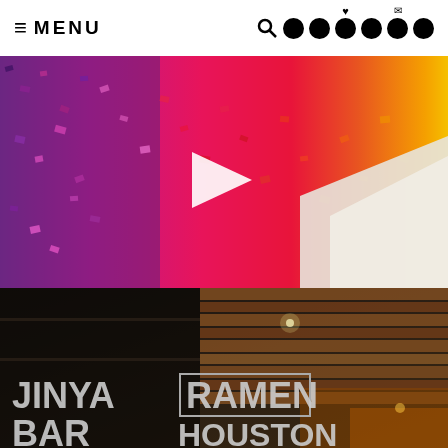≡ MENU [navigation icons]
[Figure (photo): Colorful abstract mosaic artwork installation with purple, pink, red, and orange/yellow colors transitioning left to right, with a white play button overlay in the center]
[Figure (photo): Dark interior of JINYA RAMEN BAR HOUSTON restaurant sign with wooden ceiling panels visible]